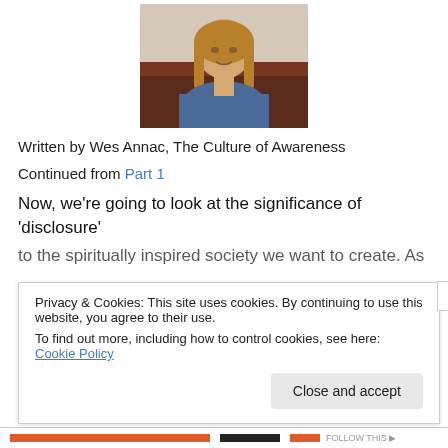[Figure (photo): Photograph of a young man with long light brown hair wearing a blue t-shirt, seated in front of a dark red/maroon couch background.]
Written by Wes Annac, The Culture of Awareness
Continued from Part 1
Now, we're going to look at the significance of ‘disclosure’
to the spiritually inspired society we want to create. As
Privacy & Cookies: This site uses cookies. By continuing to use this website, you agree to their use.
To find out more, including how to control cookies, see here: Cookie Policy